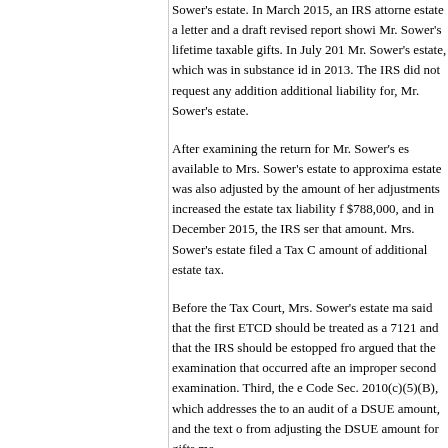Sower's estate. In March 2015, an IRS attorney sent the estate a letter and a draft revised report showing Mr. Sower's lifetime taxable gifts. In July 2015, a report for Mr. Sower's estate, which was in substance identical to the one in 2013. The IRS did not request any additional tax or assess additional liability for, Mr. Sower's estate.
After examining the return for Mr. Sower's estate, the DSUE available to Mrs. Sower's estate to approximately. Mrs. Sower's estate was also adjusted by the amount of her lifetime gifts. These adjustments increased the estate tax liability for Mrs. Sower's estate by $788,000, and in December 2015, the IRS sent a notice of deficiency in that amount. Mrs. Sower's estate filed a Tax Court petition to contest that amount of additional estate tax.
Before the Tax Court, Mrs. Sower's estate made three arguments. First, it said that the first ETCD should be treated as a closing agreement under Sec. 7121 and that the IRS should be estopped from changing it. Second, the estate argued that the examination that occurred after the first ETCD constituted an improper second examination. Third, the estate argued that Code Sec. 2010(c)(5)(B), which addresses the limitation on adjustments to an audit of a DSUE amount, and the text of that provision prevented the IRS from adjusting the DSUE amount for gifts ma